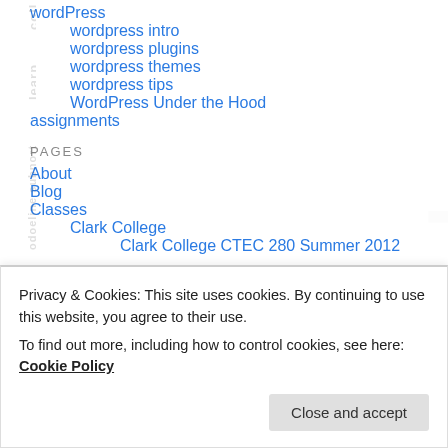wordPress
wordpress intro
wordpress plugins
wordpress themes
wordpress tips
WordPress Under the Hood
assignments
PAGES
About
Blog
Classes
Clark College
Clark College CTEC 280 Summer 2012
Privacy & Cookies: This site uses cookies. By continuing to use this website, you agree to their use.
To find out more, including how to control cookies, see here: Cookie Policy